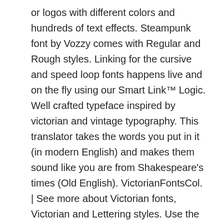or logos with different colors and hundreds of text effects. Steampunk font by Vozzy comes with Regular and Rough styles. Linking for the cursive and speed loop fonts happens live and on the fly using our Smart Link™ Logic. Well crafted typeface inspired by victorian and vintage typography. This translator takes the words you put in it (in modern English) and makes them sound like you are from Shakespeare's times (Old English). VictorianFontsCol. | See more about Victorian fonts, Victorian and Lettering styles. Use the text generator tool below to preview Great Victorian font, and create awesome text-based images or logos with different colors and hundreds of text effects. Instagram font changer – Cool fonts victorian. Nouveau and Deco Fonts Fletcher Gothic. Font Meme is a fonts & typography resource. (Page 3). While this font has a victorian touch, it still looks bold and solid. Victorian Font Generator. After all, a steampunk font named steampunk has to capture